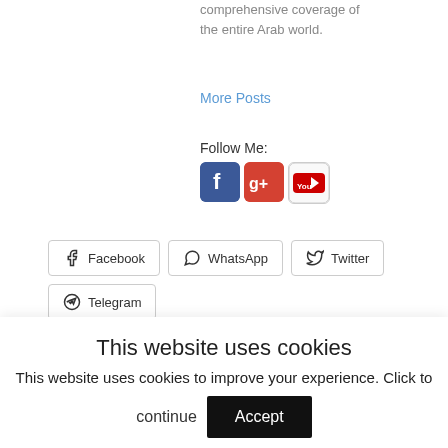comprehensive coverage of the entire Arab world.
More Posts
Follow Me:
[Figure (infographic): Social media icons row: Facebook (blue), Google+ (red), YouTube (white/red)]
[Figure (infographic): Share buttons row: Facebook, WhatsApp, Twitter, Telegram with icons and rounded rectangle borders]
Related
[Figure (photo): Partial thumbnail image visible at bottom right, showing what appears to be an airplane or similar subject]
This website uses cookies
This website uses cookies to improve your experience. Click to continue
Accept